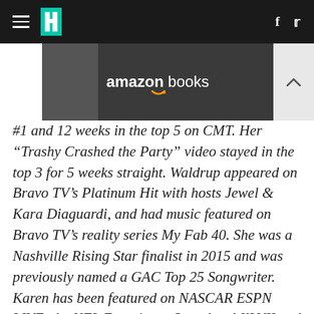HuffPost navigation with hamburger menu, logo, Facebook and Twitter icons
[Figure (photo): Amazon Books advertisement banner showing a bald woman reading a purple book with 'amazon books' text overlay]
#1 and 12 weeks in the top 5 on CMT. Her “Trashy Crashed the Party” video stayed in the top 3 for 5 weeks straight. Waldrup appeared on Bravo TV’s Platinum Hit with hosts Jewel & Kara Diaguardi, and had music featured on Bravo TV’s reality series My Fab 40. She was a Nashville Rising Star finalist in 2015 and was previously named a GAC Top 25 Songwriter. Karen has been featured on NASCAR ESPN LIVE, the NFL Experience Superbowl XLVII and hundreds of other outlets world wide. Waldrup’s new album Justified is slated for release in early